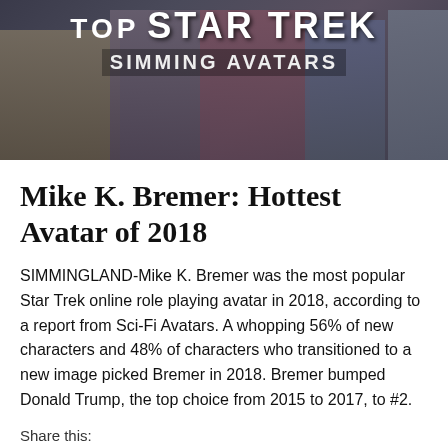[Figure (photo): Collage banner image showing multiple Star Trek characters/avatars with overlaid text reading 'TOP STAR TREK SIMMING AVATARS']
Mike K. Bremer: Hottest Avatar of 2018
SIMMINGLAND-Mike K. Bremer was the most popular Star Trek online role playing avatar in 2018, according to a report from Sci-Fi Avatars. A whopping 56% of new characters and 48% of characters who transitioned to a new image picked Bremer in 2018. Bremer bumped Donald Trump, the top choice from 2015 to 2017, to #2.
Share this: